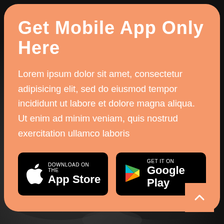Get Mobile App Only Here
Lorem ipsum dolor sit amet, consectetur adipisicing elit, sed do eiusmod tempor incididunt ut labore et dolore magna aliqua. Ut enim ad minim veniam, quis nostrud exercitation ullamco laboris
[Figure (other): App Store download button (black rounded rectangle with Apple logo, text: DOWNLOAD ON THE App Store)]
[Figure (other): Google Play download button (black rounded rectangle with Google Play triangle logo, text: GET IT ON Google Play)]
[Figure (photo): Dark background photo of hands using a smartphone/tablet, partially visible behind the orange card]
[Figure (other): Back to top button: orange square with white upward chevron arrow in bottom right corner]